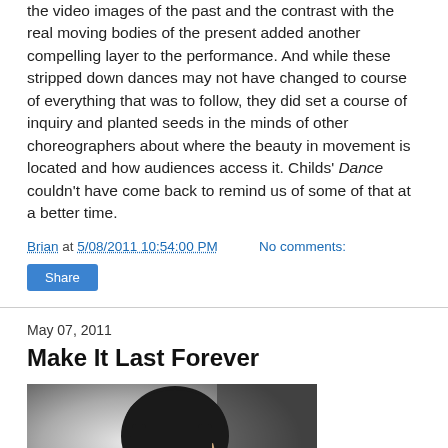the video images of the past and the contrast with the real moving bodies of the present added another compelling layer to the performance. And while these stripped down dances may not have changed to course of everything that was to follow, they did set a course of inquiry and planted seeds in the minds of other choreographers about where the beauty in movement is located and how audiences access it. Childs' Dance couldn't have come back to remind us of some of that at a better time.
Brian at 5/08/2011 10:54:00 PM    No comments:
Share
May 07, 2011
Make It Last Forever
[Figure (photo): Portrait photo of a man with dark hair, glasses, and a goatee, wearing dark clothing against a light background.]